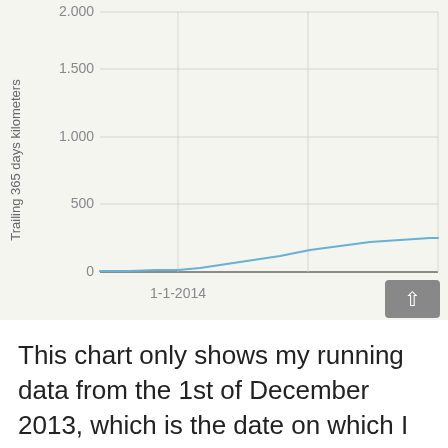[Figure (continuous-plot): Line chart showing trailing 365-day running kilometers starting from around 1-1-2014. The line starts near 0 and rises gradually to approximately 250 km by the right edge. Y-axis ranges from 0 to 2000, with gridlines at 0, 500, 1000, 1500, 2000.]
This chart only shows my running data from the 1st of December 2013, which is the date on which I started to